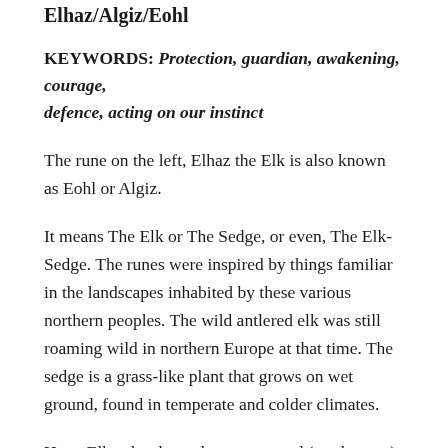Elhaz/Algiz/Eohl
KEYWORDS: Protection, guardian, awakening, courage, defence, acting on our instinct
The rune on the left, Elhaz the Elk is also known as Eohl or Algiz.
It means The Elk or The Sedge, or even, The Elk-Sedge. The runes were inspired by things familiar in the landscapes inhabited by these various northern peoples. The wild antlered elk was still roaming wild in northern Europe at that time. The sedge is a grass-like plant that grows on wet ground, found in temperate and colder climates.
Here, Elhaz has been drawn reversed (merkstave.)